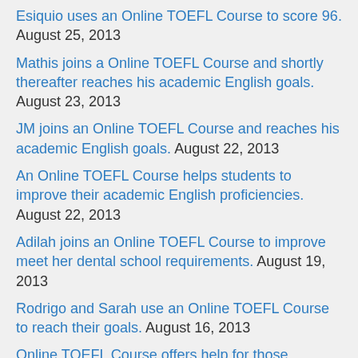Esiquio uses an Online TOEFL Course to score 96. August 25, 2013
Mathis joins a Online TOEFL Course and shortly thereafter reaches his academic English goals. August 23, 2013
JM joins an Online TOEFL Course and reaches his academic English goals. August 22, 2013
An Online TOEFL Course helps students to improve their academic English proficiencies. August 22, 2013
Adilah joins an Online TOEFL Course to improve meet her dental school requirements. August 19, 2013
Rodrigo and Sarah use an Online TOEFL Course to reach their goals. August 16, 2013
Online TOEFL Course offers help for those struggling with the integrated writing task August 16, 2013
Online TOEFL Course offers 630 lessons to help students reach their academic English goals. August 14, 2013